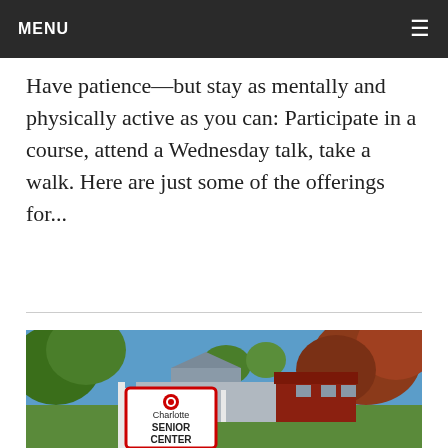MENU
Have patience—but stay as mentally and physically active as you can: Participate in a course, attend a Wednesday talk, take a walk. Here are just some of the offerings for...
[Figure (photo): Outdoor photo of Charlotte Senior Center building with a red and white sign reading 'Charlotte SENIOR CENTER' in the foreground, trees with autumn foliage in the background, and a blue sky.]